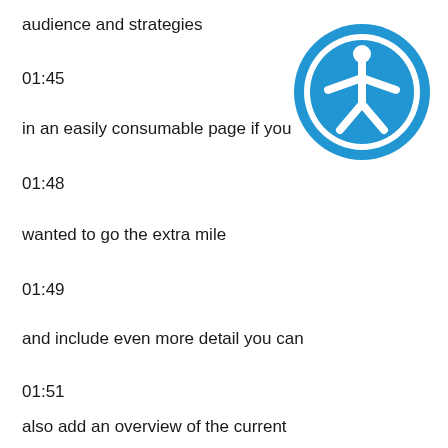audience and strategies
01:45
in an easily consumable page if you
[Figure (illustration): Accessibility icon: a blue circle containing a white stylized human figure with arms outstretched]
01:48
wanted to go the extra mile
01:49
and include even more detail you can
01:51
also add an overview of the current
01:53